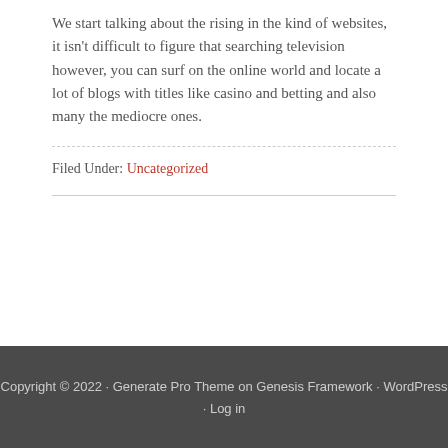We start talking about the rising in the kind of websites, it isn't difficult to figure that searching television however, you can surf on the online world and locate a lot of blogs with titles like casino and betting and also many the mediocre ones.
Filed Under: Uncategorized
Copyright © 2022 · Generate Pro Theme on Genesis Framework · WordPress · Log in